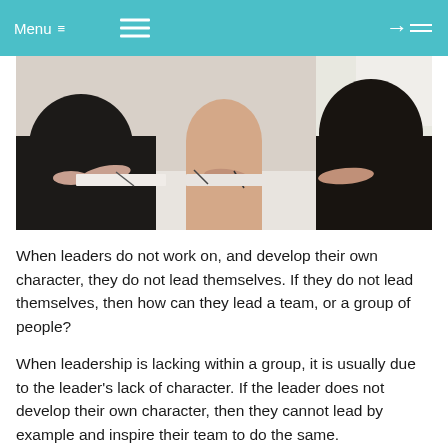Menu ≡  ☰  →
[Figure (photo): Three women seated at a white table in a meeting room, writing or working on documents, viewed from mid-body level.]
When leaders do not work on, and develop their own character, they do not lead themselves. If they do not lead themselves, then how can they lead a team, or a group of people?
When leadership is lacking within a group, it is usually due to the leader's lack of character. If the leader does not develop their own character, then they cannot lead by example and inspire their team to do the same.
As mentioned earlier, when taking over a group of people before you can turn them into a team, you need to know what their strengths are. So, you need to focus